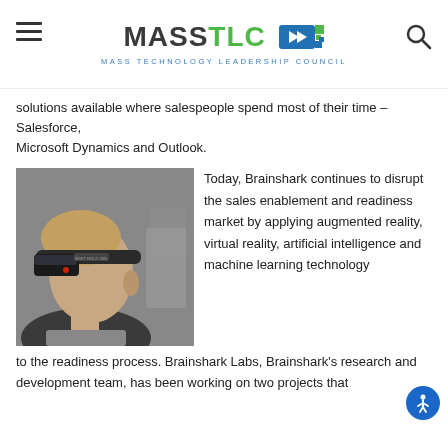MASS TLC — MASS TECHNOLOGY LEADERSHIP COUNCIL
solutions available where salespeople spend most of their time – Salesforce, Microsoft Dynamics and Outlook.
[Figure (photo): Person wearing a Microsoft HoloLens mixed reality headset, side profile view, in an office setting.]
Today, Brainshark continues to disrupt the sales enablement and readiness market by applying augmented reality, virtual reality, artificial intelligence and machine learning technology to the readiness process. Brainshark Labs, Brainshark's research and development team, has been working on two projects that